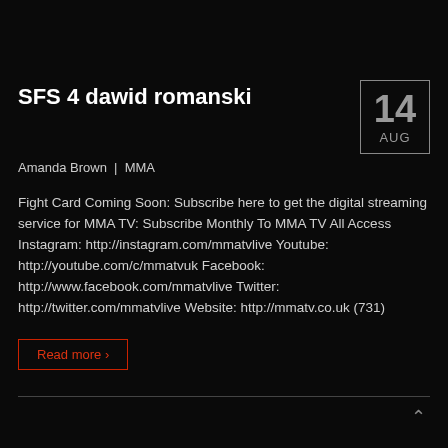SFS 4 dawid romanski
Amanda Brown | MMA
Fight Card Coming Soon: Subscribe here to get the digital streaming service for MMA TV: Subscribe Monthly To MMA TV All Access Instagram: http://instagram.com/mmatvlive Youtube: http://youtube.com/c/mmatvuk Facebook: http://www.facebook.com/mmatvlive Twitter: http://twitter.com/mmatvlive Website: http://mmatv.co.uk (731)
Read more >